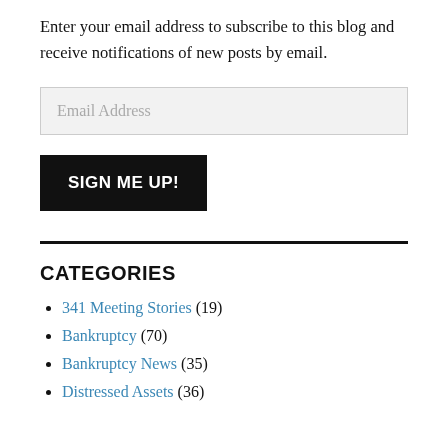Enter your email address to subscribe to this blog and receive notifications of new posts by email.
[Figure (other): Email address input field with placeholder text 'Email Address']
[Figure (other): Black button with white uppercase text 'SIGN ME UP!']
CATEGORIES
341 Meeting Stories (19)
Bankruptcy (70)
Bankruptcy News (35)
Distressed Assets (36)